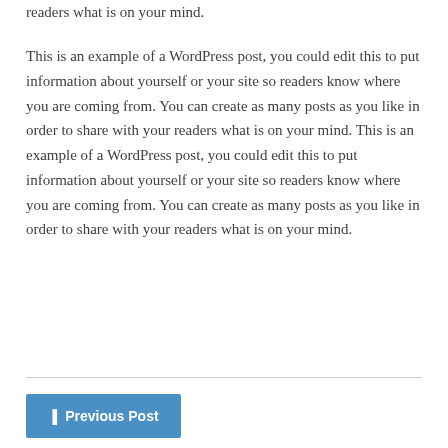readers what is on your mind.
This is an example of a WordPress post, you could edit this to put information about yourself or your site so readers know where you are coming from. You can create as many posts as you like in order to share with your readers what is on your mind. This is an example of a WordPress post, you could edit this to put information about yourself or your site so readers know where you are coming from. You can create as many posts as you like in order to share with your readers what is on your mind.
Previous Post